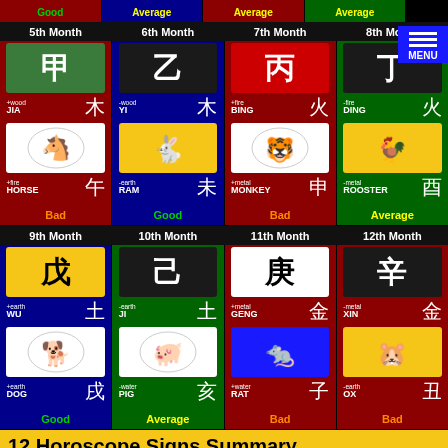| 5th Month | 6th Month | 7th Month | 8th Month |
| --- | --- | --- | --- |
| JIA +wood | YI -wood | BING +fire | DING -fire |
| HORSE +fire | RAM -earth | MONKEY +metal | ROOSTER -metal |
| Bad | Good | Bad | Average |
| 9th Month | 10th Month | 11th Month | 12th Month |
| --- | --- | --- | --- |
| WU +earth | JI -earth | GENG +metal | XIN -metal |
| DOG +earth | PIG -water | RAT +water | OX -earth |
| Good | Average | Bad | Bad |
12 Horoscope Signs Summary
Yearly Horoscope Forecast for 2026
| Rat | Ox | Tiger | Rabbit |
| --- | --- | --- | --- |